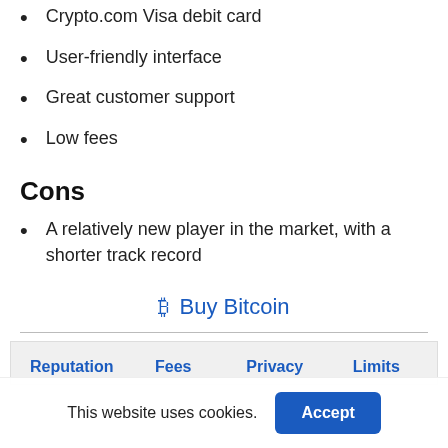Crypto.com Visa debit card
User-friendly interface
Great customer support
Low fees
Cons
A relatively new player in the market, with a shorter track record
₿ Buy Bitcoin
| Reputation | Fees | Privacy | Limits |
| --- | --- | --- | --- |
This website uses cookies.